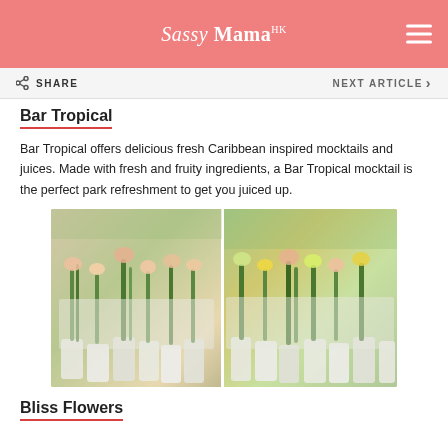Sassy Mama
Bar Tropical
Bar Tropical offers delicious fresh Caribbean inspired mocktails and juices. Made with fresh and fruity ingredients, a Bar Tropical mocktail is the perfect park refreshment to get you juiced up.
[Figure (photo): Outdoor flower market stall with rows of colorful fresh flowers in white buckets and wrappings, two side-by-side photos]
Bliss Flowers